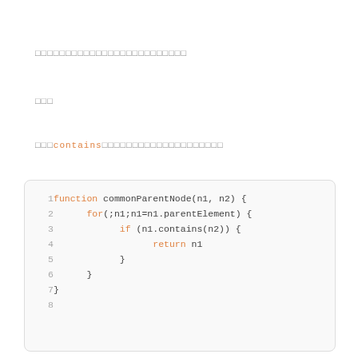□□□□□□□□□□□□□□□□□□□□□□□□□
□□□
□□□contains□□□□□□□□□□□□□□□□□□□□
function commonParentNode(n1, n2) {
  for(;n1;n1=n1.parentElement) {
    if (n1.contains(n2)) {
      return n1
    }
  }
}